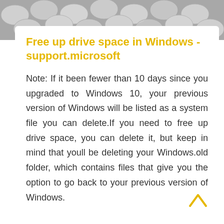[Figure (photo): Background of silver/metallic circular discs or coins filling the top portion of the page]
Free up drive space in Windows - support.microsoft
Note: If it been fewer than 10 days since you upgraded to Windows 10, your previous version of Windows will be listed as a system file you can delete.If you need to free up drive space, you can delete it, but keep in mind that youll be deleting your Windows.old folder, which contains files that give you the option to go back to your previous version of Windows.